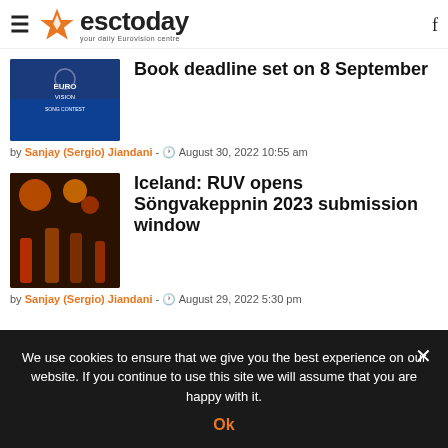esctoday — your daily Eurovision centre
Book deadline set on 8 September
by Sanjay (Sergio) Jiandani - 🕐 August 30, 2022 10:55 am
Iceland: RUV opens Söngvakeppnin 2023 submission window
by Sanjay (Sergio) Jiandani - 🕐 August 29, 2022 5:30 pm
We use cookies to ensure that we give you the best experience on our website. If you continue to use this site we will assume that you are happy with it.